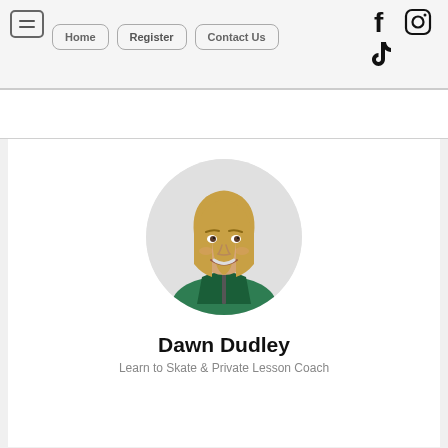Navigation bar with Home, Register, Contact Us buttons and social media icons (Facebook, Instagram, TikTok)
[Figure (photo): Circular headshot photo of Dawn Dudley, a woman with shoulder-length blonde hair wearing a green jacket, smiling against a light background]
Dawn Dudley
Learn to Skate & Private Lesson Coach